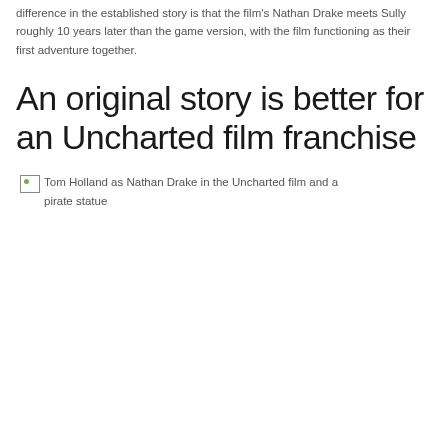difference in the established story is that the film's Nathan Drake meets Sully roughly 10 years later than the game version, with the film functioning as their first adventure together.
An original story is better for an Uncharted film franchise
[Figure (photo): Broken image placeholder with alt text: Tom Holland as Nathan Drake in the Uncharted film and a pirate statue]